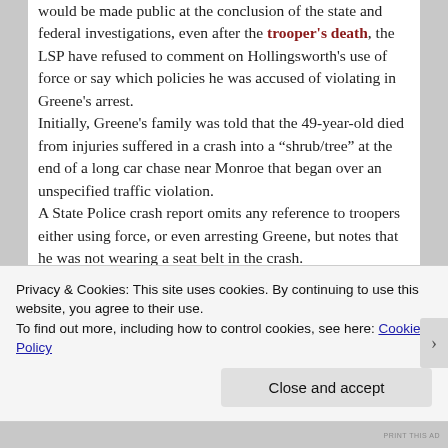would be made public at the conclusion of the state and federal investigations, even after the trooper's death, the LSP have refused to comment on Hollingsworth's use of force or say which policies he was accused of violating in Greene's arrest. Initially, Greene's family was told that the 49-year-old died from injuries suffered in a crash into a “shrub/tree” at the end of a long car chase near Monroe that began over an unspecified traffic violation. A State Police crash report omits any reference to troopers either using force, or even arresting Greene, but notes that he was not wearing a seat belt in the crash.
Privacy & Cookies: This site uses cookies. By continuing to use this website, you agree to their use. To find out more, including how to control cookies, see here: Cookie Policy
PRINT THIS AD